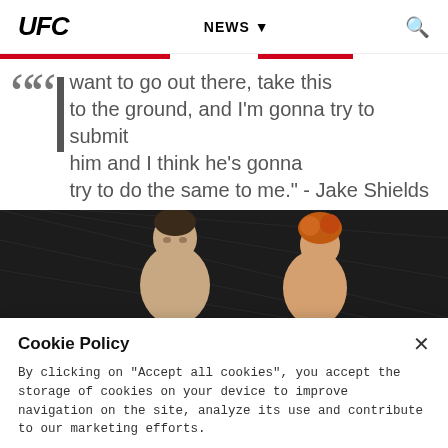UFC  NEWS  🔍
want to go out there, take this to the ground, and I'm gonna try to submit him and I think he's gonna try to do the same to me." - Jake Shields
[Figure (photo): Two UFC fighters in an octagon, one with dark hair facing right, the other with reddish-orange hair, dark background with cage mesh visible]
Cookie Policy
By clicking on "Accept all cookies", you accept the storage of cookies on your device to improve navigation on the site, analyze its use and contribute to our marketing efforts.